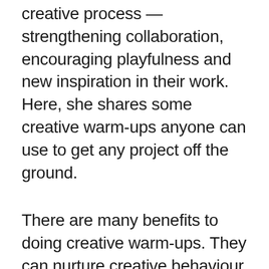creative process — strengthening collaboration, encouraging playfulness and new inspiration in their work. Here, she shares some creative warm-ups anyone can use to get any project off the ground.
There are many benefits to doing creative warm-ups. They can nurture creative behaviour, encourage open-mindedness, intuition, and playfulness.
Whether you're looking to get comfortable with a new group or mixing things up with an experienced team, these kinds of exercises can help to engage conversation and setting